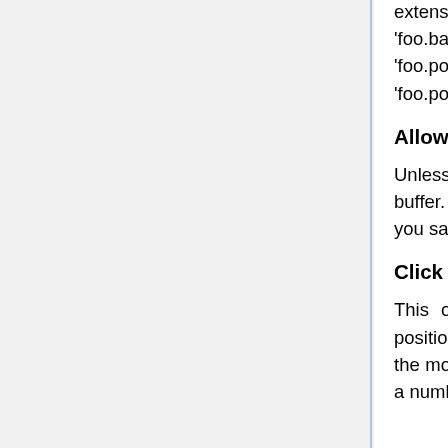extension and replace it with '.bak' (e.g. 'foo.pov' would become 'foo.bak'), we literally append '.bak', such that 'foo.pov' becomes 'foo.pov.bak', thus avoiding the problem that having two files named 'foo.pov' and 'foo.inc' in the same directory would have caused.
Allow Undo After Manual Save
Unless this option is checked, manually saving a file clears the undo buffer. In this case, you will not be able to undo changes made before you saved a file.
Click Beyond EOL
This option, which is on by default, allows the editor caret to be positioned beyond the end of the line if you choose to left-click there with the mouse. This is the behavior that most users seem to want. However, a number of users have